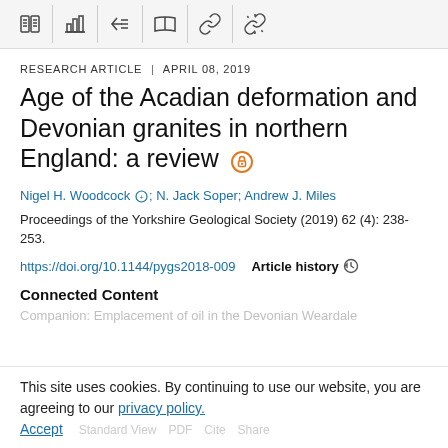Toolbar icons: book, bar chart, back-list, open book, link, broken link
RESEARCH ARTICLE | APRIL 08, 2019
Age of the Acadian deformation and Devonian granites in northern England: a review
Nigel H. Woodcock; N. Jack Soper; Andrew J. Miles
Proceedings of the Yorkshire Geological Society (2019) 62 (4): 238-253.
https://doi.org/10.1144/pygs2018-009    Article history
Connected Content
Companion: Emplacement of oil in the Devonian Weardale
This site uses cookies. By continuing to use our website, you are agreeing to our privacy policy. Accept